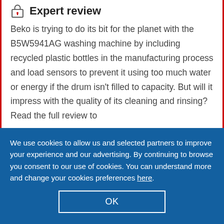Expert review
Beko is trying to do its bit for the planet with the B5W5941AG washing machine by including recycled plastic bottles in the manufacturing process and load sensors to prevent it using too much water or energy if the drum isn't filled to capacity. But will it impress with the quality of its cleaning and rinsing? Read the full review to
We use cookies to allow us and selected partners to improve your experience and our advertising. By continuing to browse you consent to our use of cookies. You can understand more and change your cookies preferences here.